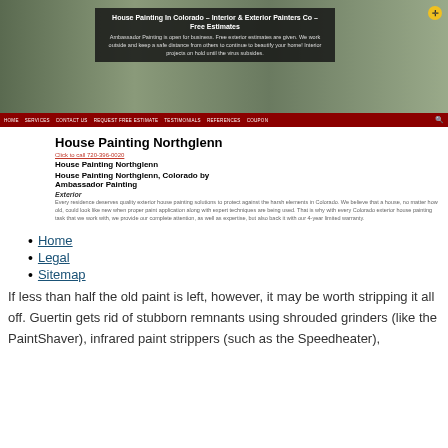[Figure (screenshot): Hero banner of a house painting website showing a house exterior photo with a dark overlay text box]
House Painting In Colorado – Interior & Exterior Painters Co – Free Estimates
Ambassador Painting is open for business. Free exterior estimates are given. We work outside and keep a safe distance from others to continue to beautify your home! Interior projects on hold until the virus subsides.
House Painting Northglenn
Click to call 720-396-0020
House Painting Northglenn
House Painting Northglenn, Colorado by Ambassador Painting
Exterior
Every residence deserves quality exterior house painting solutions to protect against the harsh elements in Colorado. We believe that a house, no matter how old, could look like new when proper paint application along with expert techniques are being used. That is why with every Colorado exterior house painting task that we work with, we provide our complete attention, as well as expertise, but also back it with our 4-year limited warranty.
Home
Legal
Sitemap
If less than half the old paint is left, however, it may be worth stripping it all off. Guertin gets rid of stubborn remnants using shrouded grinders (like the PaintShaver), infrared paint strippers (such as the Speedheater),